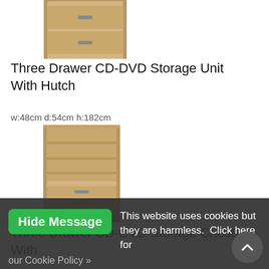[Figure (photo): Partial top view of a wooden chest of drawers product image, cropped at the top of the page]
Three Drawer CD-DVD Storage Unit With Hutch
w:48cm d:54cm h:182cm
[Figure (photo): Tall wooden CD-DVD storage unit with open shelving hutch on top and three drawers with metal handles on the bottom base unit, in light oak finish]
Three Drawer CD-DVD Storage Chest With
This website uses cookies but they are harmless.  Click here for our Cookie Policy »